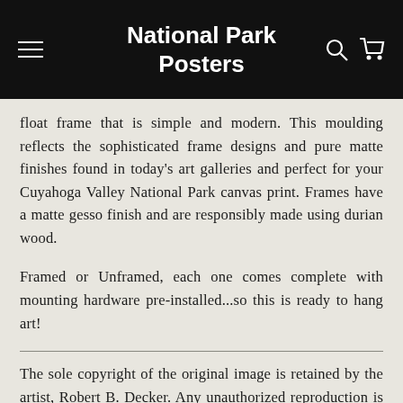National Park Posters
float frame that is simple and modern. This moulding reflects the sophisticated frame designs and pure matte finishes found in today's art galleries and perfect for your Cuyahoga Valley National Park canvas print. Frames have a matte gesso finish and are responsibly made using durian wood.
Framed or Unframed, each one comes complete with mounting hardware pre-installed...so this is ready to hang art!
The sole copyright of the original image is retained by the artist, Robert B. Decker. Any unauthorized reproduction is a violation of international copyright law.